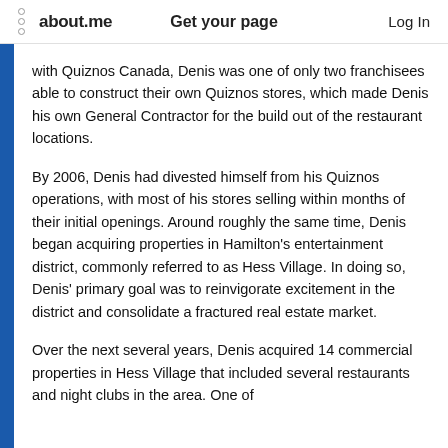about.me   Get your page   Log In
with Quiznos Canada, Denis was one of only two franchisees able to construct their own Quiznos stores, which made Denis his own General Contractor for the build out of the restaurant locations.
By 2006, Denis had divested himself from his Quiznos operations, with most of his stores selling within months of their initial openings. Around roughly the same time, Denis began acquiring properties in Hamilton’s entertainment district, commonly referred to as Hess Village. In doing so, Denis’ primary goal was to reinvigorate excitement in the district and consolidate a fractured real estate market.
Over the next several years, Denis acquired 14 commercial properties in Hess Village that included several restaurants and night clubs in the area. One of